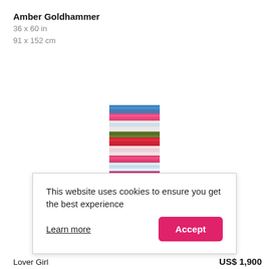Amber Goldhammer
36 x 60 in
91 x 152 cm
[Figure (illustration): Tall narrow vertical artwork showing layers of colorful horizontal stripes in red, pink, blue, green, black, and white — appears to be a painting with stacked horizontal bands of color.]
This website uses cookies to ensure you get the best experience
Learn more
Lover Girl
US$ 1,900